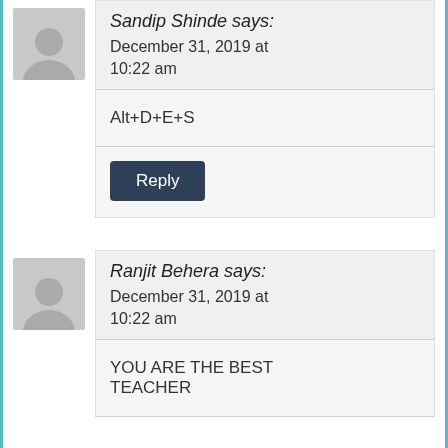Sandip Shinde says:
December 31, 2019 at 10:22 am
Alt+D+E+S
Reply
Ranjit Behera says:
December 31, 2019 at 10:22 am
YOU ARE THE BEST TEACHER